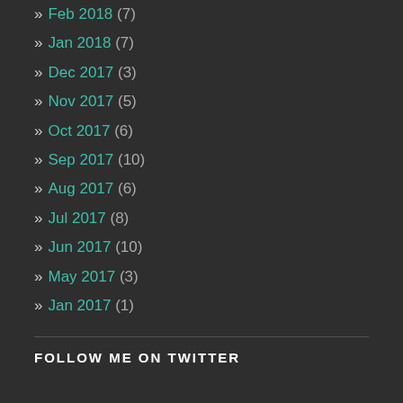» Feb 2018 (7)
» Jan 2018 (7)
» Dec 2017 (3)
» Nov 2017 (5)
» Oct 2017 (6)
» Sep 2017 (10)
» Aug 2017 (6)
» Jul 2017 (8)
» Jun 2017 (10)
» May 2017 (3)
» Jan 2017 (1)
FOLLOW ME ON TWITTER